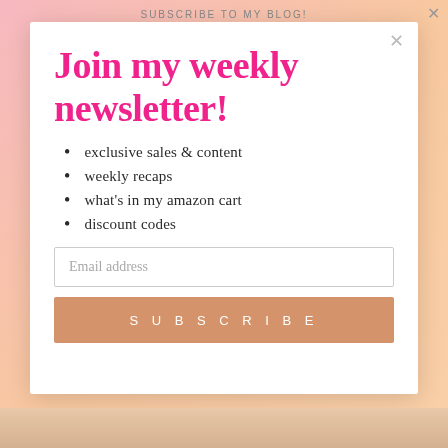SUBSCRIBE TO MY BLOG!
Join my weekly newsletter!
exclusive sales & content
weekly recaps
what's in my amazon cart
discount codes
Email address
SUBSCRIBE
[Figure (infographic): Social media icons row: Instagram, Facebook, TikTok, Pinterest, heart/LTK, Amazon]